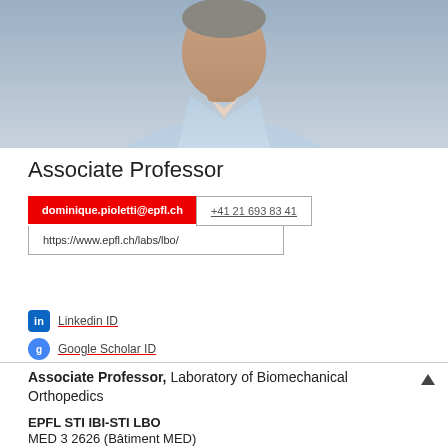[Figure (photo): Portrait photo of a man in a light blue shirt against a neutral grey background, cropped at chest level.]
Associate Professor
dominique.pioletti@epfl.ch
+41 21 693 83 41
https://www.epfl.ch/labs/lbo/
Linkedin ID
Google Scholar ID
Associate Professor, Laboratory of Biomechanical Orthopedics
EPFL STI IBI-STI LBO
MED 3 2626 (Bâtiment MED)
Station 9